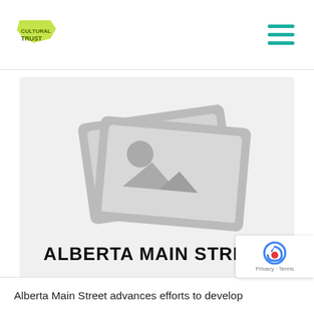Cultural Trust
[Figure (illustration): Image placeholder graphic showing two overlapping photo icons with mountain/landscape silhouette and sun, colored gray on light background]
ALBERTA MAIN STREET
Alberta Main Street advances efforts to develop